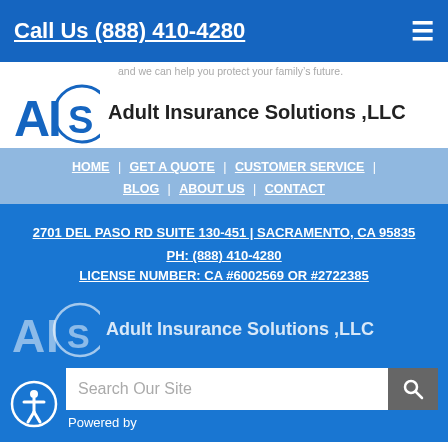Call Us (888) 410-4280
[Figure (logo): AIS Adult Insurance Solutions, LLC logo with circular S emblem]
and we can help you protect your family's future.
AIS Adult Insurance Solutions ,LLC
HOME | GET A QUOTE | CUSTOMER SERVICE | BLOG | ABOUT US | CONTACT
2701 DEL PASO RD SUITE 130-451 | SACRAMENTO, CA 95835
PH: (888) 410-4280
LICENSE NUMBER: CA #6002569 OR #2722385
[Figure (logo): AIS Adult Insurance Solutions, LLC logo repeated in footer]
Search Our Site
Powered by